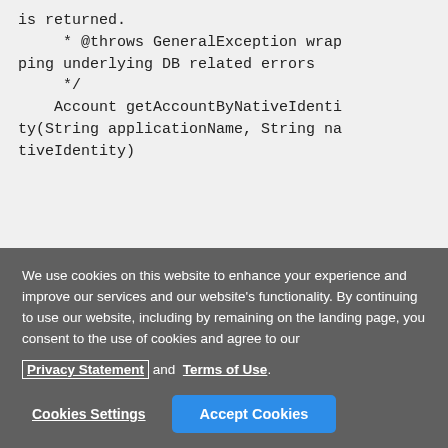is returned.
     * @throws GeneralException wrapping underlying DB related errors
     */
    Account getAccountByNativeIdentity(String applicationName, String nativeIdentity)
We use cookies on this website to enhance your experience and improve our services and our website's functionality. By continuing to use our website, including by remaining on the landing page, you consent to the use of cookies and agree to our Privacy Statement and Terms of Use.